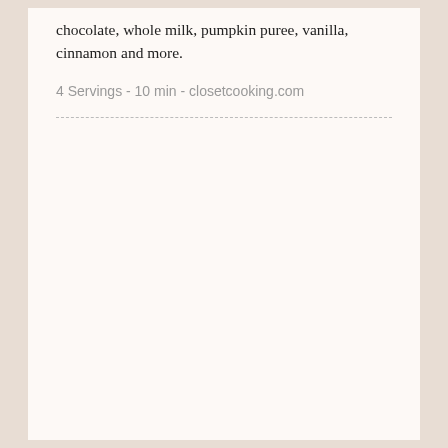chocolate, whole milk, pumpkin puree, vanilla, cinnamon and more.
4 Servings - 10 min - closetcooking.com